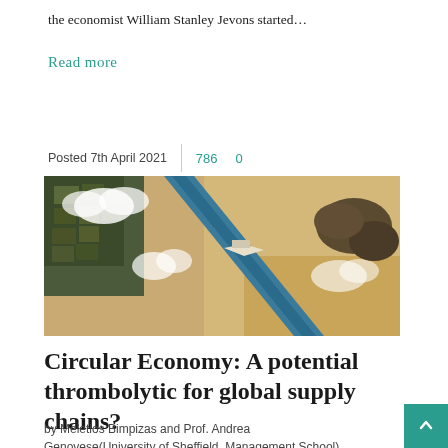the economist William Stanley Jevons started…
Read more
Posted 7th April 2021   786   0
[Figure (photo): Satellite aerial view of the Suez Canal showing a large container ship blocking the canal, surrounded by desert terrain, agricultural land, and clouds.]
Circular Economy: A potential thrombolytic for global supply chains?
by Meletios Bimpizas and Prof. Andrea Genovese(University of Sheffield, Management School) So,